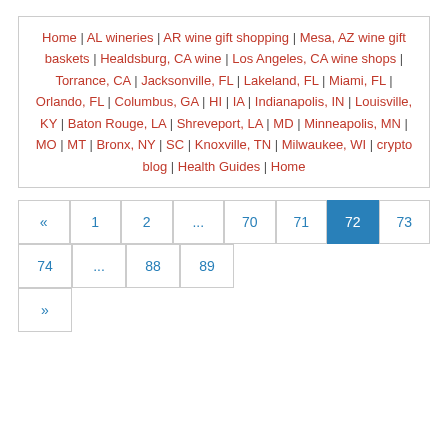Home | AL wineries | AR wine gift shopping | Mesa, AZ wine gift baskets | Healdsburg, CA wine | Los Angeles, CA wine shops | Torrance, CA | Jacksonville, FL | Lakeland, FL | Miami, FL | Orlando, FL | Columbus, GA | HI | IA | Indianapolis, IN | Louisville, KY | Baton Rouge, LA | Shreveport, LA | MD | Minneapolis, MN | MO | MT | Bronx, NY | SC | Knoxville, TN | Milwaukee, WI | crypto blog | Health Guides | Home
Pagination: « 1 2 ... 70 71 72 73 74 ... 88 89 »